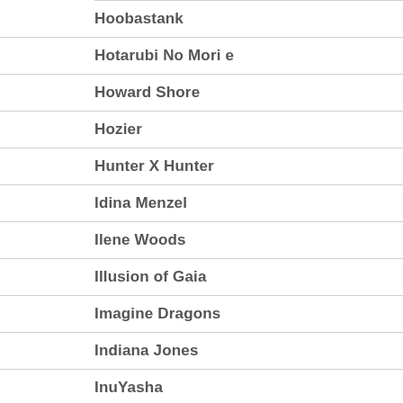Hoobastank
Hotarubi No Mori e
Howard Shore
Hozier
Hunter X Hunter
Idina Menzel
Ilene Woods
Illusion of Gaia
Imagine Dragons
Indiana Jones
InuYasha